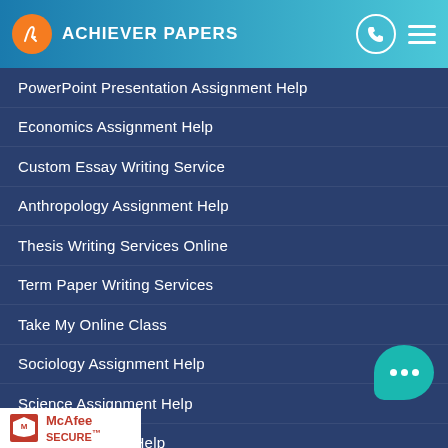ACHIEVER PAPERS
PowerPoint Presentation Assignment Help
Economics Assignment Help
Custom Essay Writing Service
Anthropology Assignment Help
Thesis Writing Services Online
Term Paper Writing Services
Take My Online Class
Sociology Assignment Help
Science Assignment Help
Research Paper Help
Psychology Assignment Help
PROOFREADING AND EDITING SERVICE
Political Science Assignment Help
...ssignment help
[Figure (logo): McAfee SECURE badge]
[Figure (illustration): Teal chat bubble with three dots]